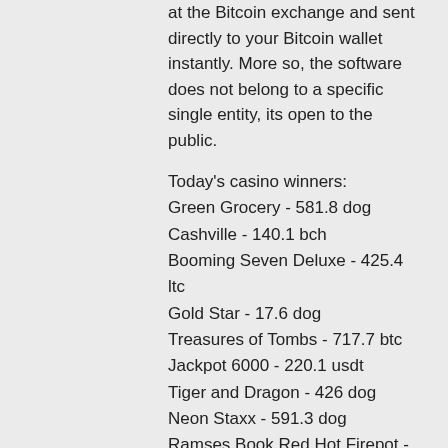at the Bitcoin exchange and sent directly to your Bitcoin wallet instantly. More so, the software does not belong to a specific single entity, its open to the public.
Today's casino winners:
Green Grocery - 581.8 dog
Cashville - 140.1 bch
Booming Seven Deluxe - 425.4 ltc
Gold Star - 17.6 dog
Treasures of Tombs - 717.7 btc
Jackpot 6000 - 220.1 usdt
Tiger and Dragon - 426 dog
Neon Staxx - 591.3 dog
Ramses Book Red Hot Firepot - 544.1 eth
Drone Wars - 209.7 bch
Dragon Dance - 591.9 usdt
Mona Lisa Jewels - 554.2 eth
Eagles Wings - 199.7 ltc
Steam Tower - 656 usdt
Jack Hammer 2 - 348.5 usdt